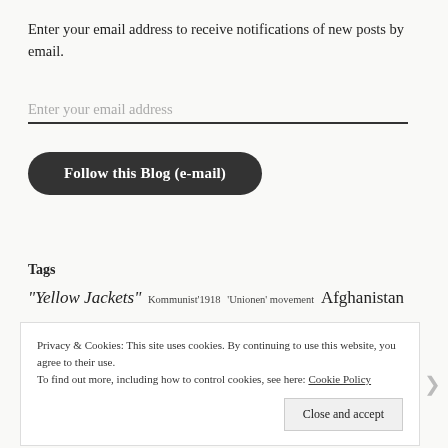Enter your email address to receive notifications of new posts by email.
Enter your email address
Follow this Blog (e-mail)
Tags
"Yellow Jackets"  Kommunist'1918  'Unionen' movement  Afghanistan
Privacy & Cookies: This site uses cookies. By continuing to use this website, you agree to their use.
To find out more, including how to control cookies, see here: Cookie Policy
Close and accept